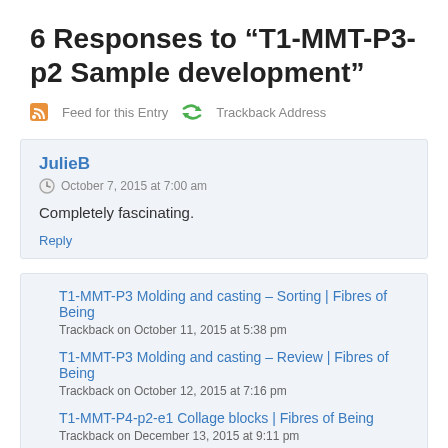6 Responses to “T1-MMT-P3-p2 Sample development”
Feed for this Entry   Trackback Address
JulieB
October 7, 2015 at 7:00 am
Completely fascinating.
Reply
T1-MMT-P3 Molding and casting – Sorting | Fibres of Being
Trackback on October 11, 2015 at 5:38 pm
T1-MMT-P3 Molding and casting – Review | Fibres of Being
Trackback on October 12, 2015 at 7:16 pm
T1-MMT-P4-p2-e1 Collage blocks | Fibres of Being
Trackback on December 13, 2015 at 9:11 pm